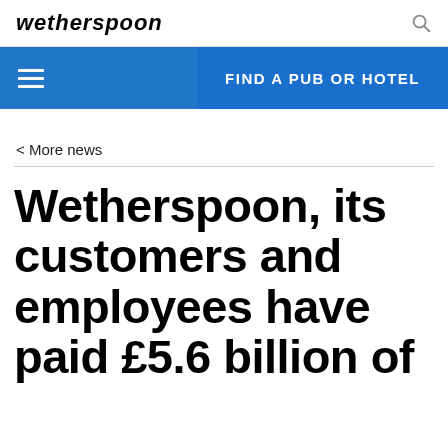wetherspoon
< More news
Wetherspoon, its customers and employees have paid £5.6 billion of